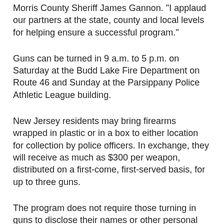Morris County Sheriff James Gannon. "I applaud our partners at the state, county and local levels for helping ensure a successful program."
Guns can be turned in 9 a.m. to 5 p.m. on Saturday at the Budd Lake Fire Department on Route 46 and Sunday at the Parsippany Police Athletic League building.
New Jersey residents may bring firearms wrapped in plastic or in a box to either location for collection by police officers. In exchange, they will receive as much as $300 per weapon, distributed on a first-come, first-served basis, for up to three guns.
The program does not require those turning in guns to disclose their names or other personal information.